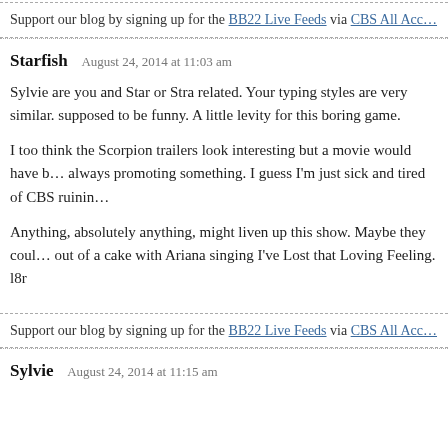Support our blog by signing up for the BB22 Live Feeds via CBS All Acc…
Starfish  August 24, 2014 at 11:03 am
Sylvie are you and Star or Stra related. Your typing styles are very similar. supposed to be funny. A little levity for this boring game.
I too think the Scorpion trailers look interesting but a movie would have b… always promoting something. I guess I'm just sick and tired of CBS ruinin…
Anything, absolutely anything, might liven up this show. Maybe they coul… out of a cake with Ariana singing I've Lost that Loving Feeling.
l8r
Support our blog by signing up for the BB22 Live Feeds via CBS All Acc…
Sylvie  August 24, 2014 at 11:15 am